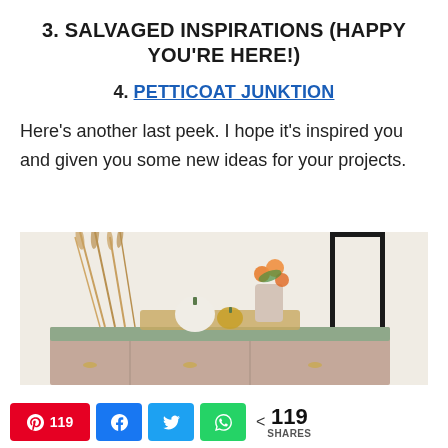3. SALVAGED INSPIRATIONS (HAPPY YOU'RE HERE!)
4. PETTICOAT JUNKTION
Here’s another last peek. I hope it’s inspired you and given you some new ideas for your projects.
[Figure (photo): A painted green and mauve dresser/cabinet topped with a decorative tray holding a white pumpkin, dried wheat stalks, a vase with orange flowers, and other fall decor items.]
119 shares with Pinterest (119), Facebook, Twitter, WhatsApp share buttons